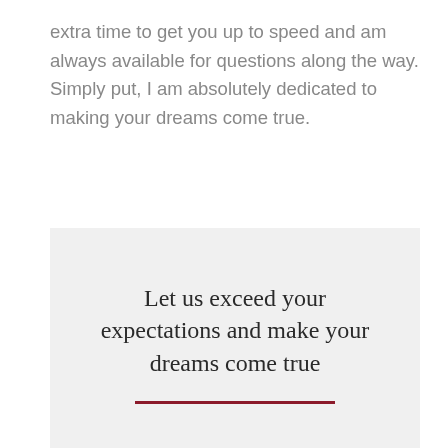extra time to get you up to speed and am always available for questions along the way. Simply put, I am absolutely dedicated to making your dreams come true.
Let us exceed your expectations and make your dreams come true